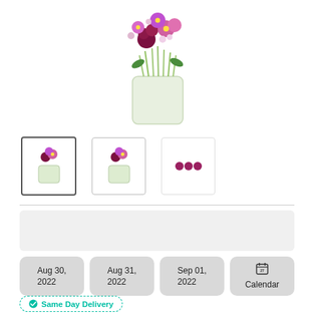[Figure (photo): A floral bouquet in a glass vase with purple, pink, and dark red flowers with green stems visible through the clear vase, shown as a product main image with three small thumbnail images below it]
Aug 30, 2022
Aug 31, 2022
Sep 01, 2022
Calendar
Same Day Delivery
$64.99